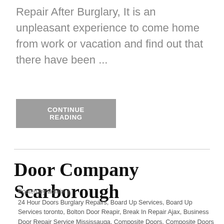Repair After Burglary, It is an unpleasant experience to come home from work or vacation and find out that there have been ...
CONTINUE READING
Door Company Scarborough
Posted by admin |
24 Hour Doors Burglary Repairs, Board Up Services, Board Up Services toronto, Bolton Door Reapir, Break In Repair Ajax, Business Door Repair Service Mississauga, Composite Doors, Composite Doors toronto, Door Closer Repair Toronto, Door Company, Door Company Mississauga, Door Company Scarborough, Door Company Toronto, Door Reapir, Door Reapir in Bolton, Door Reapir in the GTA, Door Repair, Door Repair and Installation, door repair toronto, Door Replacement Markham, Doors Closers Replacement, Doors Closers Replacement toronto, Entryway Glass Repair, Entryway Replacement Markham, Entryway Replacement Toronto, Exterior Door Frame repair oakville, Fire Rated Door Installations, Fire rated frame installations, Frenzy Bar Installation Richmond Hill, Garage Door